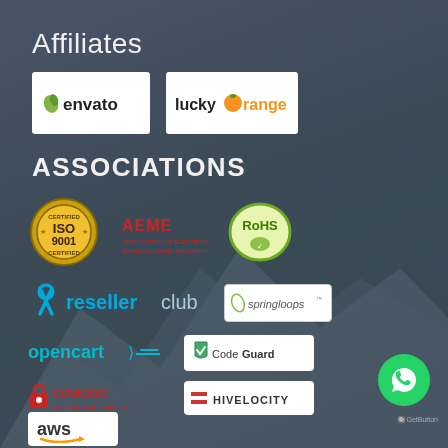Affiliates
[Figure (logo): Envato logo - white background with green leaf icon and 'envato' text]
[Figure (logo): Lucky Orange logo - white background with orange fruit icon and 'luckyorange' text]
ASSOCIATIONS
[Figure (logo): ISO 9001 Certified gold badge seal]
[Figure (logo): AEME logo in red text]
[Figure (logo): RoHS green compliance logo]
[Figure (logo): ResellerClub logo with cyan tools icon and text]
[Figure (logo): Springloops logo in a white rounded box]
[Figure (logo): OpenCart logo in cyan text]
[Figure (logo): CodeGuard logo in white box with shield icon]
[Figure (logo): Comodo SSL Certificates logo in red]
[Figure (logo): Hivelocity logo in white box]
[Figure (logo): AWS (Amazon Web Services) logo in white box with orange arrow]
[Figure (logo): WhatsApp floating button (green circle with phone icon)]